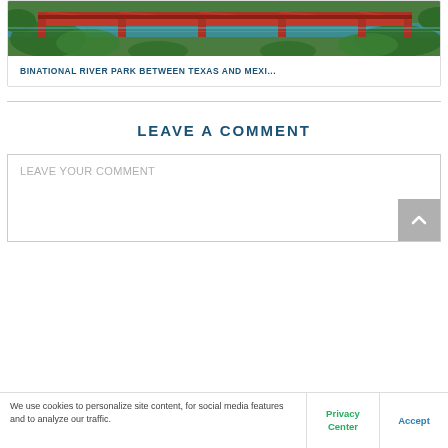[Figure (photo): Aerial photo of a red railroad bridge over a green river, surrounded by trees — border between Texas and Mexico.]
BINATIONAL RIVER PARK BETWEEN TEXAS AND MEXI...
LEAVE A COMMENT
LEAVE YOUR COMMENT
We use cookies to personalize site content, for social media features and to analyze our traffic.
Privacy Center
Accept